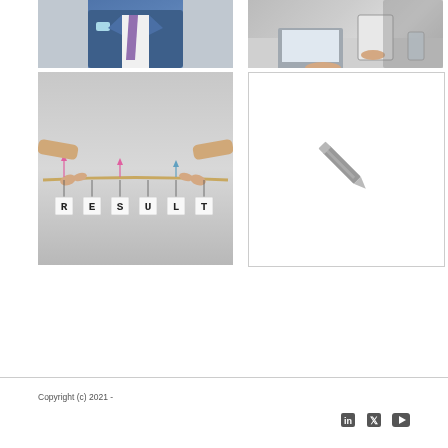[Figure (photo): Person in blue suit with purple tie and blue pocket square, upper body]
[Figure (photo): Business meeting scene with laptop and tablet on desk]
[Figure (photo): Hands pointing to letter tiles spelling RESULT hanging on a rope with arrows]
[Figure (illustration): White placeholder box with pencil/edit icon in center]
Copyright (c) 2021 -
[Figure (illustration): Social media icons: LinkedIn, Twitter, YouTube]